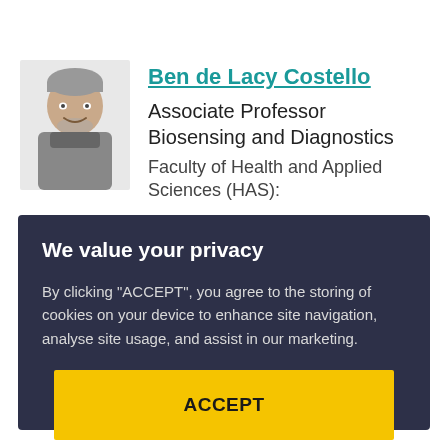[Figure (photo): Headshot photo of Ben de Lacy Costello, a man with short grey hair and a beard, wearing a grey turtleneck, smiling]
Ben de Lacy Costello
Associate Professor Biosensing and Diagnostics
Faculty of Health and Applied Sciences (HAS):
We value your privacy
By clicking "ACCEPT", you agree to the storing of cookies on your device to enhance site navigation, analyse site usage, and assist in our marketing.
ACCEPT
VIEW COOKIE SETTINGS